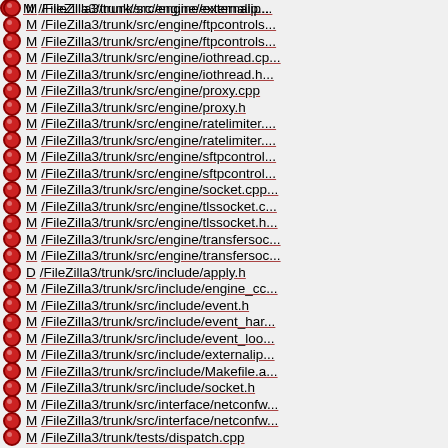M /FileZilla3/trunk/src/engine/externalip...
M /FileZilla3/trunk/src/engine/ftpcontrols...
M /FileZilla3/trunk/src/engine/ftpcontrols...
M /FileZilla3/trunk/src/engine/iothread.cp...
M /FileZilla3/trunk/src/engine/iothread.h...
M /FileZilla3/trunk/src/engine/proxy.cpp
M /FileZilla3/trunk/src/engine/proxy.h
M /FileZilla3/trunk/src/engine/ratelimiter....
M /FileZilla3/trunk/src/engine/ratelimiter....
M /FileZilla3/trunk/src/engine/sftpcontrol...
M /FileZilla3/trunk/src/engine/sftpcontrol...
M /FileZilla3/trunk/src/engine/socket.cpp...
M /FileZilla3/trunk/src/engine/tlssocket.c...
M /FileZilla3/trunk/src/engine/tlssocket.h...
M /FileZilla3/trunk/src/engine/transfersoc...
M /FileZilla3/trunk/src/engine/transfersoc...
D /FileZilla3/trunk/src/include/apply.h
M /FileZilla3/trunk/src/include/engine_cc...
M /FileZilla3/trunk/src/include/event.h
M /FileZilla3/trunk/src/include/event_har...
M /FileZilla3/trunk/src/include/event_loo...
M /FileZilla3/trunk/src/include/externalip...
M /FileZilla3/trunk/src/include/Makefile.a...
M /FileZilla3/trunk/src/include/socket.h
M /FileZilla3/trunk/src/interface/netconfw...
M /FileZilla3/trunk/src/interface/netconfw...
M /FileZilla3/trunk/tests/dispatch.cpp